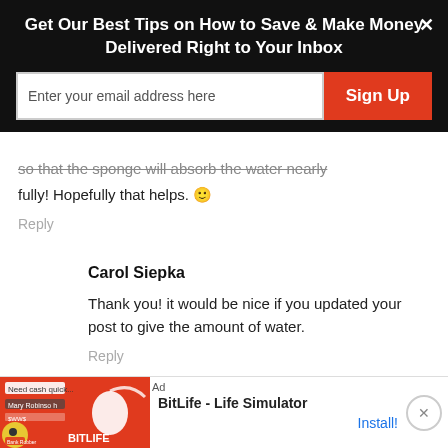Get Our Best Tips on How to Save & Make Money Delivered Right to Your Inbox
so that the sponge will absorb the water nearly fully! Hopefully that helps. 🙂
Reply
Carol Siepka
Thank you! it would be nice if you updated your post to give the amount of water.
Reply
[Figure (screenshot): Ad banner for BitLife - Life Simulator app with orange/red background showing game UI elements]